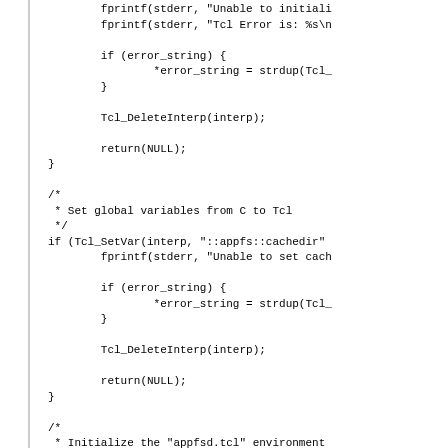Source code snippet showing C code with Tcl interpreter error handling and initialization, including fprintf stderr calls, if error_string blocks, Tcl_DeleteInterp, return(NULL), comment blocks for setting global variables from C to Tcl and initializing appfsd.tcl environment, Tcl_SetVar, Tcl_Eval calls.